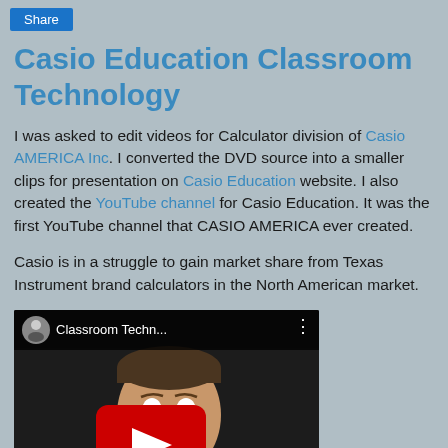Share
Casio Education Classroom Technology
I was asked to edit videos for Calculator division of Casio AMERICA Inc. I converted the DVD source into a smaller clips for presentation on Casio Education website. I also created the YouTube channel for Casio Education. It was the first YouTube channel that CASIO AMERICA ever created.
Casio is in a struggle to gain market share from Texas Instrument brand calculators in the North American market.
[Figure (screenshot): Embedded YouTube video player showing 'Classroom Techn...' with a man's face visible and a red play button overlay]